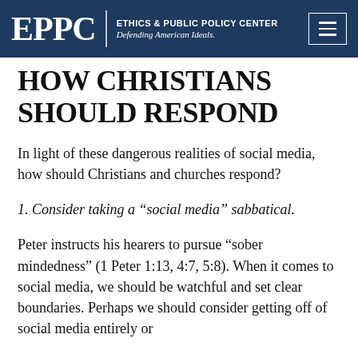EPPC | ETHICS & PUBLIC POLICY CENTER Defending American Ideals.
HOW CHRISTIANS SHOULD RESPOND
In light of these dangerous realities of social media, how should Christians and churches respond?
1. Consider taking a “social media” sabbatical.
Peter instructs his hearers to pursue “sober mindedness” (1 Peter 1:13, 4:7, 5:8). When it comes to social media, we should be watchful and set clear boundaries. Perhaps we should consider getting off of social media entirely or